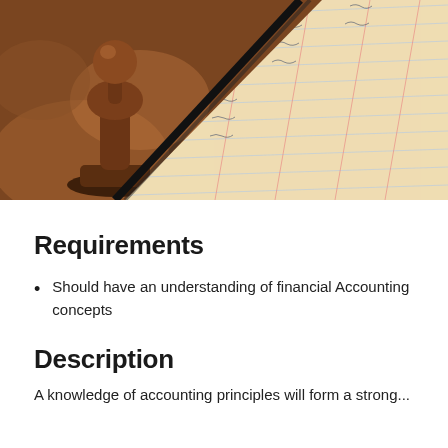[Figure (photo): Composite image: left side shows a wooden chess piece (pawn) on a blurred warm brown background; right side shows a handwritten financial ledger/accounting book with grid lines and handwritten entries, separated by a diagonal dividing line.]
Requirements
Should have an understanding of financial Accounting concepts
Description
A knowledge of accounting principles will form a strong...